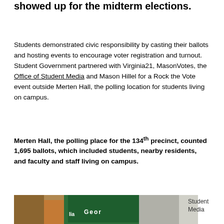showed up for the midterm elections.
Students demonstrated civic responsibility by casting their ballots and hosting events to encourage voter registration and turnout. Student Government partnered with Virginia21, MasonVotes, the Office of Student Media and Mason Hillel for a Rock the Vote event outside Merten Hall, the polling location for students living on campus.
Merten Hall, the polling place for the 134th precinct, counted 1,695 ballots, which included students, nearby residents, and faculty and staff living on campus.
[Figure (photo): Photo of a George Mason University tent/banner outdoors with a person standing nearby and trees in background.]
Student Media